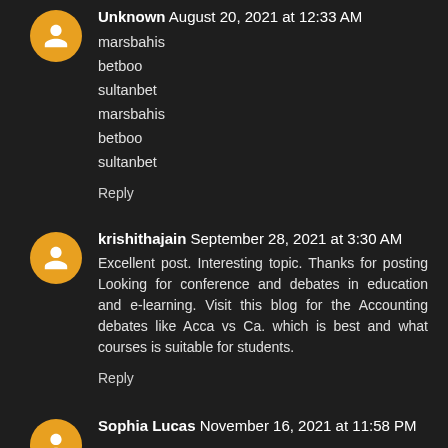Unknown August 20, 2021 at 12:33 AM
marsbahis
betboo
sultanbet
marsbahis
betboo
sultanbet
Reply
krishithajain September 28, 2021 at 3:30 AM
Excellent post. Interesting topic. Thanks for posting Looking for conference and debates in education and e-learning. Visit this blog for the Accounting debates like Acca vs Ca. which is best and what courses is suitable for students.
Reply
Sophia Lucas November 16, 2021 at 11:58 PM